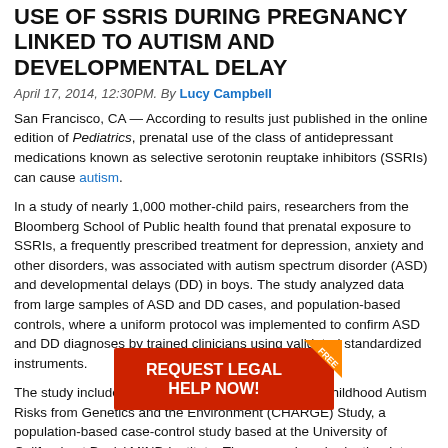USE OF SSRIS DURING PREGNANCY LINKED TO AUTISM AND DEVELOPMENTAL DELAY
April 17, 2014, 12:30PM. By Lucy Campbell
San Francisco, CA — According to results just published in the online edition of Pediatrics, prenatal use of the class of antidepressant medications known as selective serotonin reuptake inhibitors (SSRIs) can cause autism.
In a study of nearly 1,000 mother-child pairs, researchers from the Bloomberg School of Public health found that prenatal exposure to SSRIs, a frequently prescribed treatment for depression, anxiety and other disorders, was associated with autism spectrum disorder (ASD) and developmental delays (DD) in boys. The study analyzed data from large samples of ASD and DD cases, and population-based controls, where a uniform protocol was implemented to confirm ASD and DD diagnoses by trained clinicians using validated standardized instruments.
The study included 966 mother-child pairs from the Childhood Autism Risks from Genetics and the Environment (CHARGE) Study, a population-based case-control study based at the University of California at Davis' MIND Institute. The researchers broke the data into three groups: Those diagnosed with autism spectrum disorder (ASD), those with developmental delays (DD) and those with typical development (TD). The children ranged in ages two to five. A majority of the children were boys--82.5% in the ASD group were boys, 65.6% and 85.6% in the TD were boys." While the potentially stronger effect
[Figure (other): Red advertisement banner overlay reading REQUEST LEGAL HELP NOW! with a FREE ribbon badge in the corner]